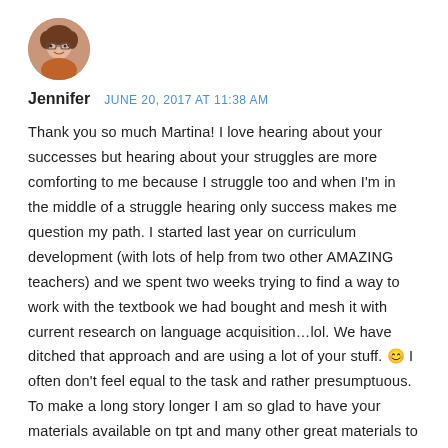[Figure (photo): Circular avatar photo of a woman with glasses]
Jennifer   JUNE 20, 2017 AT 11:38 AM
Thank you so much Martina! I love hearing about your successes but hearing about your struggles are more comforting to me because I struggle too and when I'm in the middle of a struggle hearing only success makes me question my path. I started last year on curriculum development (with lots of help from two other AMAZING teachers) and we spent two weeks trying to find a way to work with the textbook we had bought and mesh it with current research on language acquisition…lol. We have ditched that approach and are using a lot of your stuff. 😊 I often don't feel equal to the task and rather presumptuous. To make a long story longer I am so glad to have your materials available on tpt and many other great materials to help me fill out and articulate our program! And to hear your struggles along with your successes just makes my experience seem more typical rather than the failure that it feels like at times. Warmest thanks again. And you will find your perfect house! 🙂 It may take a while but it's waiting